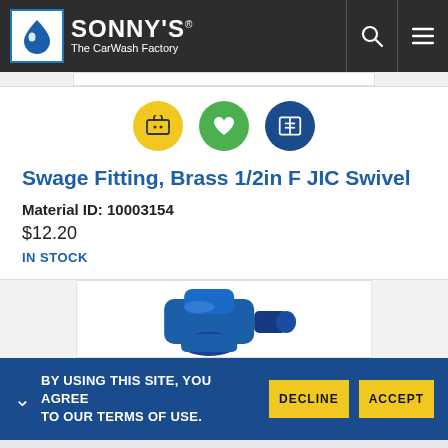SONNY'S The CarWash Factory
[Figure (logo): Sonny's The CarWash Factory logo with blue water drop icon]
Swage Fitting, Brass 1/2in F JIC Swivel
Material ID: 10003154
$12.20
IN STOCK
[Figure (photo): Blue swage fitting product photo, partially visible]
BY USING THIS SITE, YOU AGREE TO OUR TERMS OF USE.